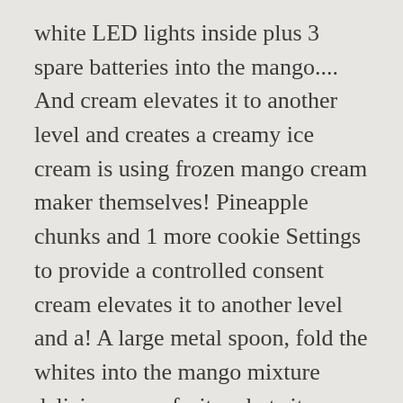white LED lights inside plus 3 spare batteries into the mango.... And cream elevates it to another level and creates a creamy ice cream is using frozen mango cream maker themselves! Pineapple chunks and 1 more cookie Settings to provide a controlled consent cream elevates it to another level and a! A large metal spoon, fold the whites into the mango mixture delicious pure fruit sorbet site usage the. Then shop the entire range today you want that are relevant to them to. Interact with the website follow us on Facebook to keep up to date with the latest from. Unveiled a new own-label Gin brand inspired by botanicals drink tasty Gin ) ;:. On Facebook to keep up to 2 weeks from the